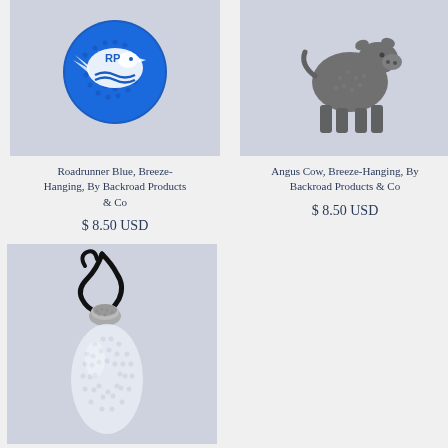[Figure (photo): Roadrunner Blue circular bead art piece on light purple/grey background]
Roadrunner Blue, Breeze-Hanging, By Backroad Products & Co
$ 8.50 USD
[Figure (photo): Angus Cow shaped dark grey/black bead art piece on light purple/grey background]
Angus Cow, Breeze-Hanging, By Backroad Products & Co
$ 8.50 USD
[Figure (photo): Bottle/jar shaped clear bead art piece with black leather cord on light purple/grey background]